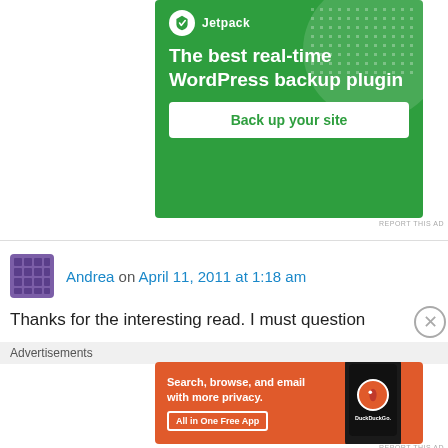[Figure (screenshot): Jetpack advertisement banner with green background showing logo, headline 'The best real-time WordPress backup plugin' and 'Back up your site' button]
REPORT THIS AD
Andrea on April 11, 2011 at 1:18 am
Thanks for the interesting read. I must question
Advertisements
[Figure (screenshot): DuckDuckGo advertisement with orange background showing 'Search, browse, and email with more privacy. All in One Free App' with phone image and DuckDuckGo logo]